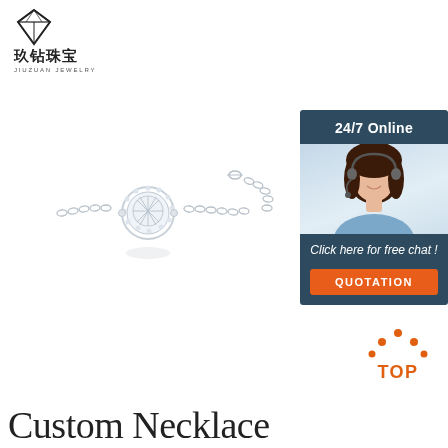[Figure (logo): Jiuzuan Jewelry logo with diamond shape icon, Chinese characters 玖钻珠宝 and pinyin JIUZUAN JEWELRY]
[Figure (photo): Silver bracelet with round diamond halo pendant on a chain, on white background]
[Figure (infographic): 24/7 Online customer service panel with photo of smiling woman with headset, 'Click here for free chat!' text and orange QUOTATION button]
[Figure (illustration): Orange TOP icon with dots forming a triangle above the word TOP]
Custom Necklace